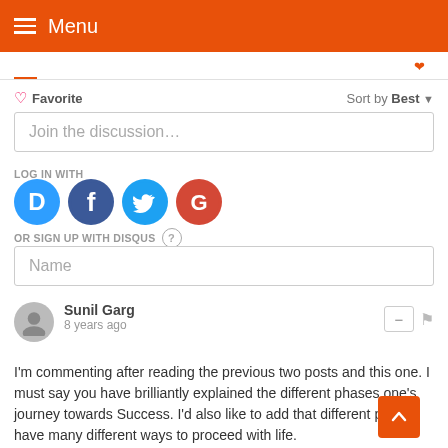Menu
Favorite   Sort by Best
Join the discussion…
LOG IN WITH
[Figure (illustration): Social login icons: Disqus (blue D), Facebook (dark blue f), Twitter (light blue bird), Google (red G)]
OR SIGN UP WITH DISQUS ?
Name
Sunil Garg
8 years ago
I'm commenting after reading the previous two posts and this one. I must say you have brilliantly explained the different phases one's journey towards Success. I'd also like to add that different people have many different ways to proceed with life.